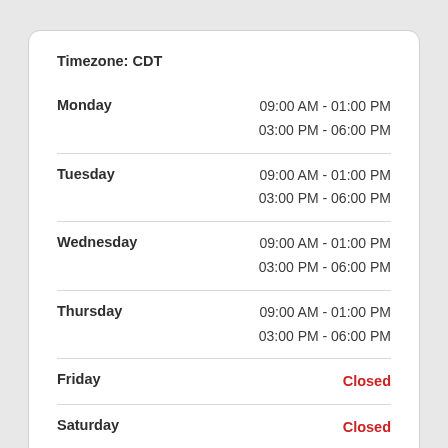Timezone: CDT
| Day | Hours |
| --- | --- |
| Monday | 09:00 AM - 01:00 PM
03:00 PM - 06:00 PM |
| Tuesday | 09:00 AM - 01:00 PM
03:00 PM - 06:00 PM |
| Wednesday | 09:00 AM - 01:00 PM
03:00 PM - 06:00 PM |
| Thursday | 09:00 AM - 01:00 PM
03:00 PM - 06:00 PM |
| Friday | Closed |
| Saturday | Closed |